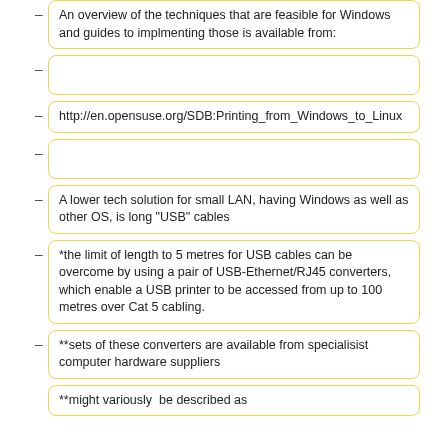An overview of the techniques that are feasible for Windows and guides to implmenting those is available from:
http://en.opensuse.org/SDB:Printing_from_Windows_to_Linux
A lower tech solution for small LAN, having Windows as well as other OS, is long "USB" cables
*the limit of length to 5 metres for USB cables can be overcome by using a pair of USB-Ethernet/RJ45 converters, which enable a USB printer to be accessed from up to 100  metres over Cat 5 cabling.
**sets of these converters are available from specialisist computer hardware suppliers
**might variously  be described as